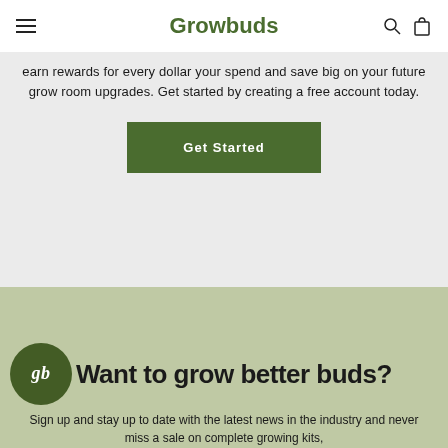Growbuds
earn rewards for every dollar your spend and save big on your future grow room upgrades. Get started by creating a free account today.
Get Started
Want to grow better buds?
Sign up and stay up to date with the latest news in the industry and never miss a sale on complete growing kits,